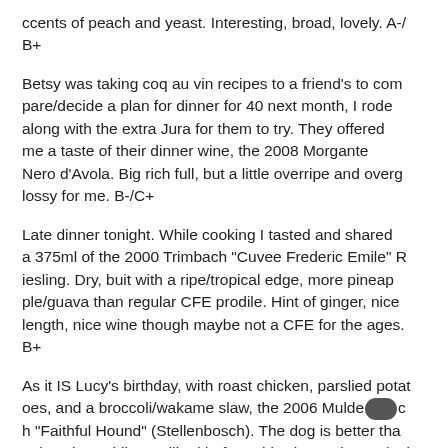ccents of peach and yeast. Interesting, broad, lovely. A-/B+
Betsy was taking coq au vin recipes to a friend's to compare/decide a plan for dinner for 40 next month, I rode along with the extra Jura for them to try. They offered me a taste of their dinner wine, the 2008 Morgante Nero d'Avola. Big rich full, but a little overripe and overglossy for me. B-/C+
Late dinner tonight. While cooking I tasted and shared a 375ml of the 2000 Trimbach "Cuvee Frederic Emile" Riesling. Dry, buit with a ripe/tropical edge, more pineapple/guava than regular CFE prodile. Hint of ginger, nice length, nice wine though maybe not a CFE for the ages. B+
As it IS Lucy's birthday, with roast chicken, parslied potatoes, and a broccoli/wakame slaw, the 2006 Mulderbosch "Faithful Hound" (Stellenbosch). The dog is better than the wine, while I've liked before, this vintage is overly ripe and forward, with some oak notes, a bit too much "striving for Pavie" for my tastes. B-/C+